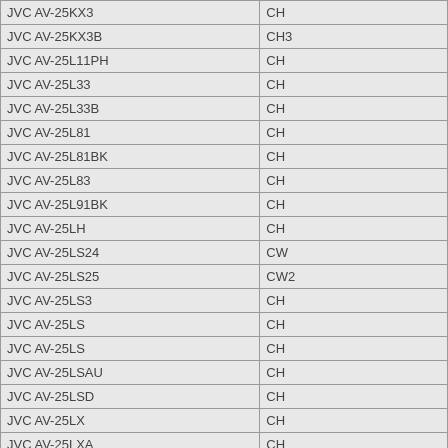| JVC AV-25KX3 | CH |
| JVC AV-25KX3B | CH3 |
| JVC AV-25L11PH | CH |
| JVC AV-25L33 | CH |
| JVC AV-25L33B | CH |
| JVC AV-25L81 | CH |
| JVC AV-25L81BK | CH |
| JVC AV-25L83 | CH |
| JVC AV-25L91BK | CH |
| JVC AV-25LH | CH |
| JVC AV-25LS24 | CW |
| JVC AV-25LS25 | CW2 |
| JVC AV-25LS3 | CH |
| JVC AV-25LS | CH |
| JVC AV-25LS | CH |
| JVC AV-25LSAU | CH |
| JVC AV-25LSD | CH |
| JVC AV-25LX | CH |
| JVC AV-25LXA | CH |
| JVC AV-25LXAU | CH |
| JVC AV-25M315 | CW2 |
| JVC AV-25MEX(A) | MZ2 |
| JVC AV-25MS26 | CW3 |